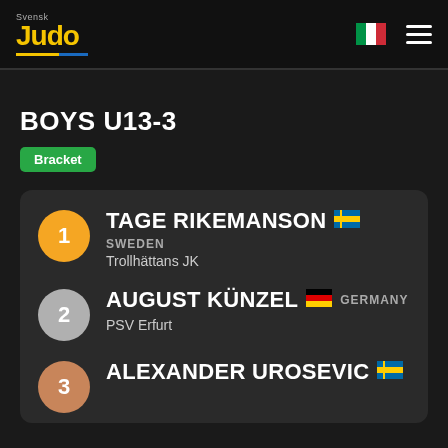[Figure (logo): Svensk Judo logo with yellow text on dark background]
[Figure (illustration): Italian flag emoji]
BOYS U13-3
Bracket
1 TAGE RIKEMANSON 🇸🇪 SWEDEN Trollhättans JK
2 AUGUST KÜNZEL 🇩🇪 GERMANY PSV Erfurt
3 ALEXANDER UROSEVIC 🇸🇪